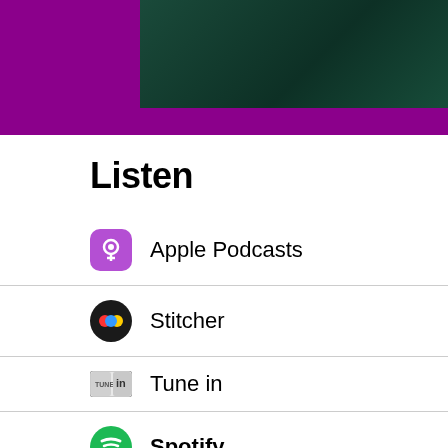[Figure (photo): Dark teal/green background image with purple banner behind it, cropped at top of page]
Listen
Apple Podcasts
Stitcher
Tune in
Spotify